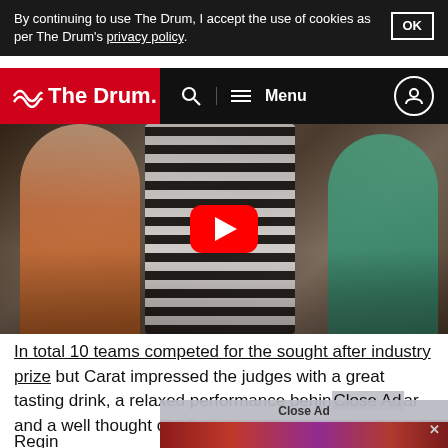By continuing to use The Drum, I accept the use of cookies as per The Drum's privacy policy.
The Drum — Menu navigation bar
[Figure (screenshot): Video thumbnail showing people at an event with a YouTube play button overlay in the center]
In total 10 teams competed for the sought after industry prize but Carat impressed the judges with a great tasting drink, a relaxed performance behind the bar and a well thought out theme.
Regin... ia, said: